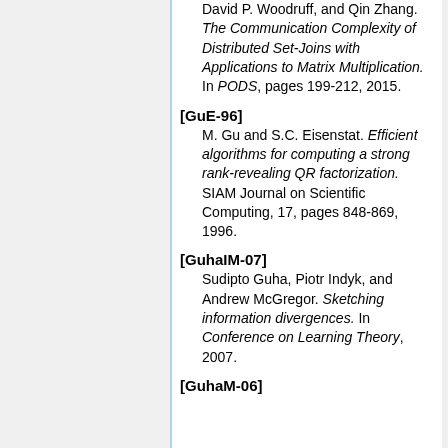David P. Woodruff, and Qin Zhang. The Communication Complexity of Distributed Set-Joins with Applications to Matrix Multiplication. In PODS, pages 199-212, 2015.
[GuE-96] M. Gu and S.C. Eisenstat. Efficient algorithms for computing a strong rank-revealing QR factorization. SIAM Journal on Scientific Computing, 17, pages 848-869, 1996.
[GuhaIM-07] Sudipto Guha, Piotr Indyk, and Andrew McGregor. Sketching information divergences. In Conference on Learning Theory, 2007.
[GuhaM-06]